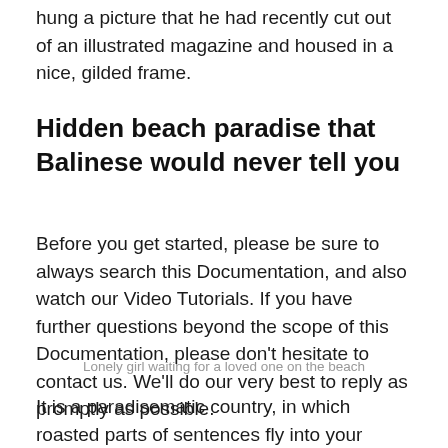hung a picture that he had recently cut out of an illustrated magazine and housed in a nice, gilded frame.
Hidden beach paradise that Balinese would never tell you
Before you get started, please be sure to always search this Documentation, and also watch our Video Tutorials. If you have further questions beyond the scope of this Documentation, please don't hesitate to contact us. We'll do our very best to reply as promptly as possible.
Lonely girl waiting for a loved one on the beach
It is a paradisematic country, in which roasted parts of sentences fly into your mouth. One morning, when Gregor Samsa woke from troubled dreams, he found himself